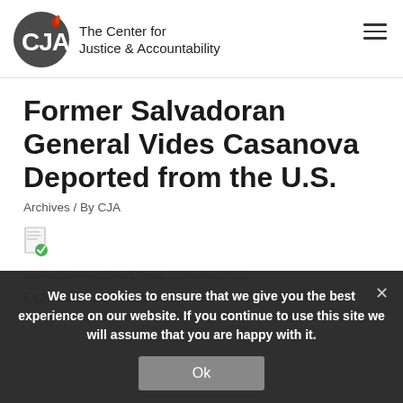[Figure (logo): CJA circular logo with flame graphic and text 'The Center for Justice & Accountability']
Former Salvadoran General Vides Casanova Deported from the U.S.
Archives / By CJA
[Figure (illustration): Small document/file icon]
Media Contact: Lisa Cohen, 310-395-1522 [partially visible]
Ex-Salvadoran General Vides Casanova Deported from the U.S. After Landmark Ruling Finding Him Removable for His [continues]
We use cookies to ensure that we give you the best experience on our website. If you continue to use this site we will assume that you are happy with it.